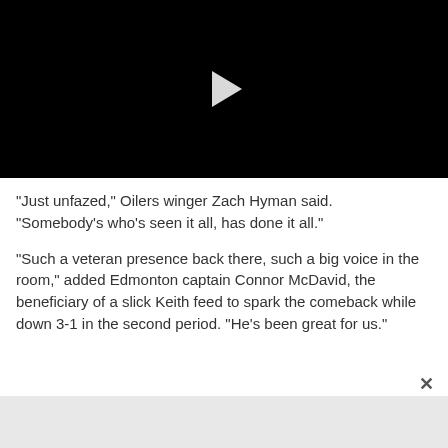[Figure (screenshot): Black video player with a white play button triangle in the center]
"Just unfazed," Oilers winger Zach Hyman said. "Somebody's who's seen it all, has done it all."
"Such a veteran presence back there, such a big voice in the room," added Edmonton captain Connor McDavid, the beneficiary of a slick Keith feed to spark the comeback while down 3-1 in the second period. "He's been great for us."